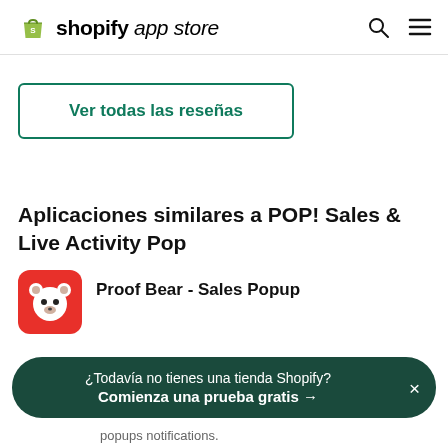shopify app store
Ver todas las reseñas
Aplicaciones similares a POP! Sales & Live Activity Pop
Proof Bear - Sales Popup
¿Todavía no tienes una tienda Shopify? Comienza una prueba gratis →
popups notifications.